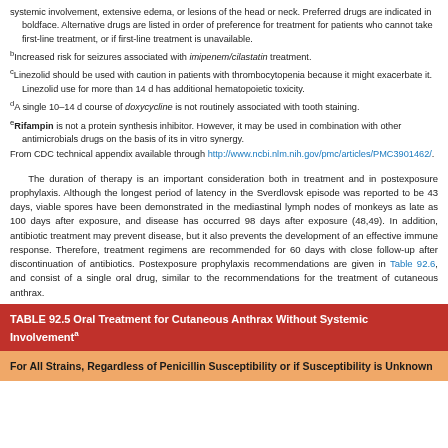systemic involvement, extensive edema, or lesions of the head or neck. Preferred drugs are indicated in boldface. Alternative drugs are listed in order of preference for treatment for patients who cannot take first-line treatment, or if first-line treatment is unavailable.
bIncreased risk for seizures associated with imipenem/cilastatin treatment.
cLinezolid should be used with caution in patients with thrombocytopenia because it might exacerbate it. Linezolid use for more than 14 d has additional hematopoietic toxicity.
dA single 10-14 d course of doxycycline is not routinely associated with tooth staining.
eRifampin is not a protein synthesis inhibitor. However, it may be used in combination with other antimicrobials drugs on the basis of its in vitro synergy.
From CDC technical appendix available through http://www.ncbi.nlm.nih.gov/pmc/articles/PMC3901462/.
The duration of therapy is an important consideration both in treatment and in postexposure prophylaxis. Although the longest period of latency in the Sverdlovsk episode was reported to be 43 days, viable spores have been demonstrated in the mediastinal lymph nodes of monkeys as late as 100 days after exposure, and disease has occurred 98 days after exposure (48,49). In addition, antibiotic treatment may prevent disease, but it also prevents the development of an effective immune response. Therefore, treatment regimens are recommended for 60 days with close follow-up after discontinuation of antibiotics. Postexposure prophylaxis recommendations are given in Table 92.6, and consist of a single oral drug, similar to the recommendations for the treatment of cutaneous anthrax.
| TABLE 92.5 Oral Treatment for Cutaneous Anthrax Without Systemic Involvement |
| --- |
For All Strains, Regardless of Penicillin Susceptibility or if Susceptibility is Unknown